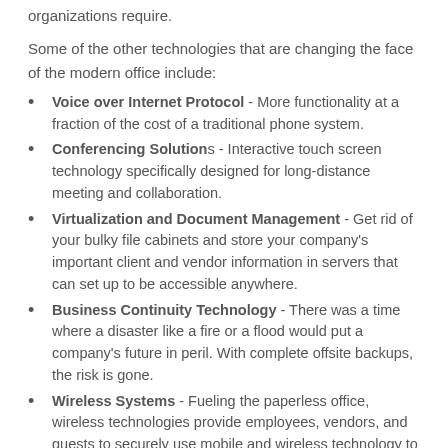organizations require.
Some of the other technologies that are changing the face of the modern office include:
Voice over Internet Protocol - More functionality at a fraction of the cost of a traditional phone system.
Conferencing Solutions - Interactive touch screen technology specifically designed for long-distance meeting and collaboration.
Virtualization and Document Management - Get rid of your bulky file cabinets and store your company's important client and vendor information in servers that can set up to be accessible anywhere.
Business Continuity Technology - There was a time where a disaster like a fire or a flood would put a company's future in peril. With complete offsite backups, the risk is gone.
Wireless Systems - Fueling the paperless office, wireless technologies provide employees, vendors, and guests to securely use mobile and wireless technology to improve cooperation and collaboration.
End-to-end Security - Enormous strides have been made in